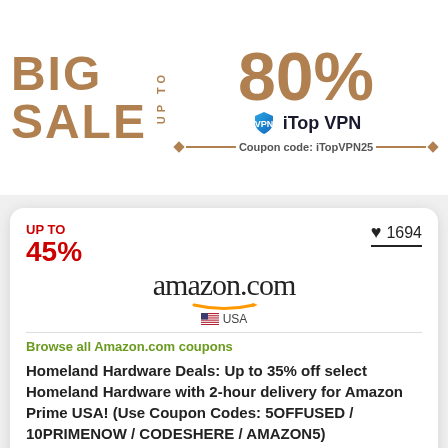[Figure (infographic): Big Sale banner with 'BIG SALE UP TO 80% iTop VPN Coupon code: iTopVPN25' promotional ad]
UP TO 45%
1694
[Figure (logo): Amazon.com USA logo with smile arrow]
Browse all Amazon.com coupons
Homeland Hardware Deals: Up to 35% off select Homeland Hardware with 2-hour delivery for Amazon Prime USA! (Use Coupon Codes: 5OFFUSED / 10PRIMENOW / CODESHERE / AMAZON5)
View this deal at Amazon.com and save on your purchase.